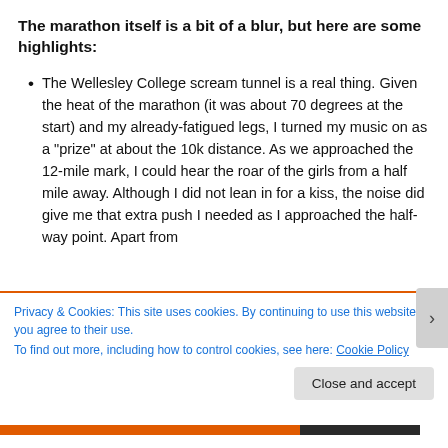The marathon itself is a bit of a blur, but here are some highlights:
The Wellesley College scream tunnel is a real thing. Given the heat of the marathon (it was about 70 degrees at the start) and my already-fatigued legs, I turned my music on as a "prize" at about the 10k distance. As we approached the 12-mile mark, I could hear the roar of the girls from a half mile away. Although I did not lean in for a kiss, the noise did give me that extra push I needed as I approached the half-way point. Apart from
Privacy & Cookies: This site uses cookies. By continuing to use this website, you agree to their use.
To find out more, including how to control cookies, see here: Cookie Policy